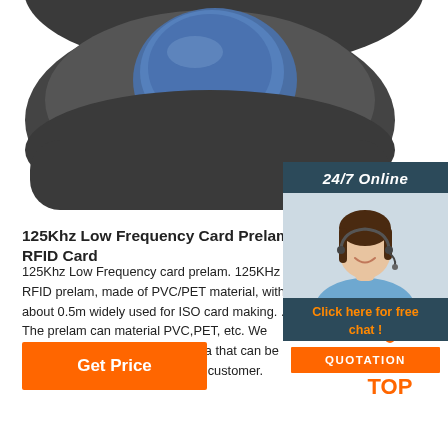[Figure (photo): Close-up photo of a black and dark blue/grey spherical or dome-shaped device with a large blue circular element on top, shown from below/side angle on white background.]
[Figure (illustration): Sidebar with dark teal background: '24/7 Online' banner, photo of a female customer service agent with headset smiling, 'Click here for free chat!' text in orange, and an orange 'QUOTATION' button.]
125Khz Low Frequency Card Prelam - RFID Card
125Khz Low Frequency card prelam. 125KHz RFID prelam, made of PVC/PET material, with about 0.5m widely used for ISO card making. . The prelam can material PVC,PET, etc. We could develop any size a antenna that can be adapted to the specific requirem customer.
[Figure (illustration): Orange 'Get Price' button at bottom left.]
[Figure (logo): TOP logo with orange dots arranged in a triangle/house shape above the word TOP in orange text on white background, bottom right.]